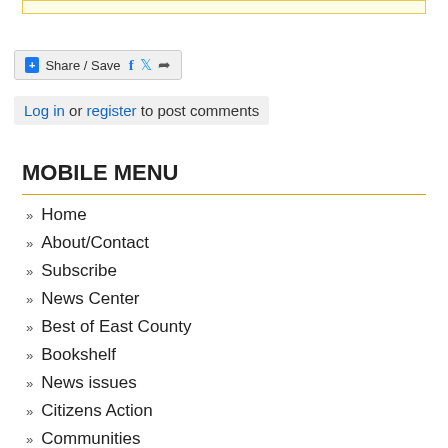[Figure (other): Yellow-bordered top bar / banner area]
[Figure (other): Share/Save social sharing widget with Facebook, Twitter, and generic share icons]
Log in or register to post comments
MOBILE MENU
Home
About/Contact
Subscribe
News Center
Best of East County
Bookshelf
News issues
Citizens Action
Communities
Coupons